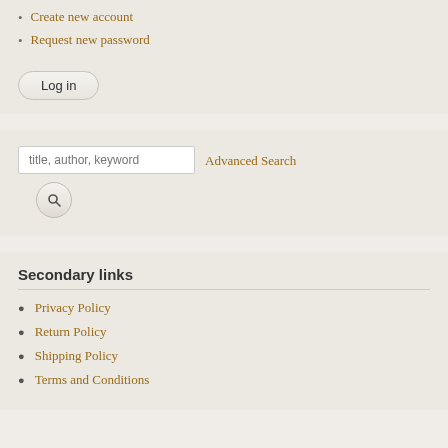Create new account
Request new password
Log in
[Figure (screenshot): Search input box with placeholder 'title, author, keyword']
Advanced Search
Secondary links
Privacy Policy
Return Policy
Shipping Policy
Terms and Conditions